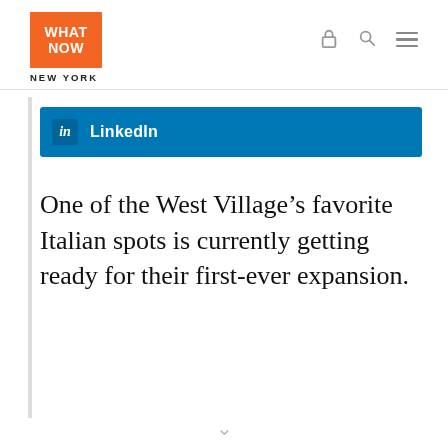WHAT NOW NEW YORK
[Figure (logo): What Now New York orange logo with navigation icons]
LinkedIn
One of the West Village’s favorite Italian spots is currently getting ready for their first-ever expansion.